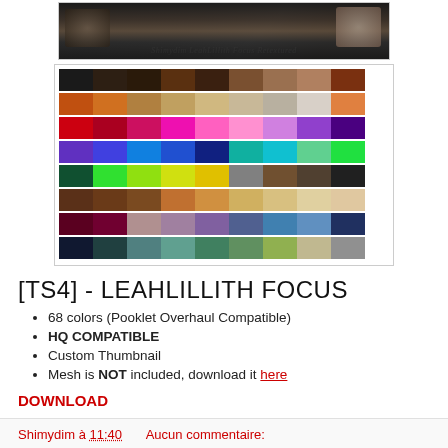[Figure (photo): Preview image of Shimydim LeahLillith Focus Retextured hair mod showing two female Sims characters with dark and light hair against dark background, with watermark text 'Shimydim LeahLillith Focus Retextured' and 'shimydimssims4.com']
[Figure (infographic): Color swatch palette showing 68 hair colors arranged in rows and columns including blacks, browns, naturals, reds, pinks, purples, blues, greens, yellows, grays, and fantasy colors]
[TS4] - LEAHLILLITH FOCUS
68 colors (Pooklet Overhaul Compatible)
HQ COMPATIBLE
Custom Thumbnail
Mesh is NOT included, download it here
DOWNLOAD
Shimydim à 11:40    Aucun commentaire: